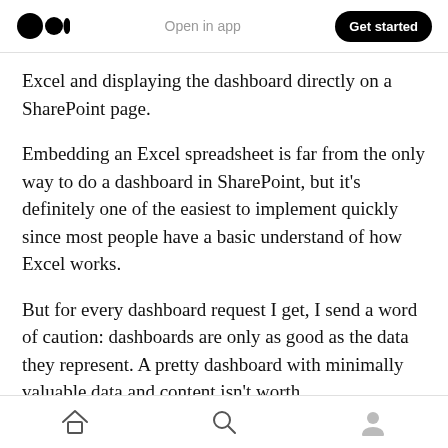Open in app | Get started
Excel and displaying the dashboard directly on a SharePoint page.
Embedding an Excel spreadsheet is far from the only way to do a dashboard in SharePoint, but it's definitely one of the easiest to implement quickly since most people have a basic understand of how Excel works.
But for every dashboard request I get, I send a word of caution: dashboards are only as good as the data they represent. A pretty dashboard with minimally valuable data and content isn't worth
Home | Search | Profile